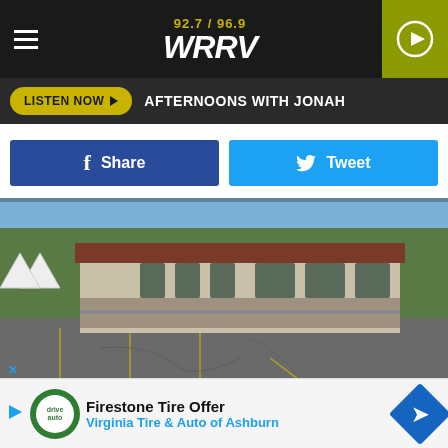92.7 / 96.9 WRRV
LISTEN NOW ▶  AFTERNOONS WITH JONAH
Share   Tweet
[Figure (photo): Exterior photo of Mountain Brauhaus restaurant building with parking lot in foreground, white tent visible on left, trees in background. Google Images credit.]
Google Images
Mountain Brauhaus
The Mountain Brauhaus is on Route 44 in Gardiner. This seems
Firestone Tire Offer — Virginia Tire & Auto of Ashburn